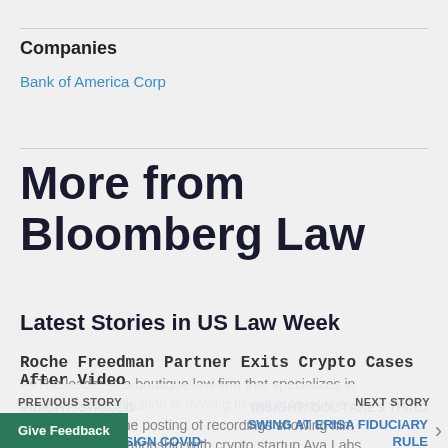Companies
Bank of America Corp
More from Bloomberg Law
Latest Stories in US Law Week
Roche Freedman Partner Exits Crypto Cases After Video Po...
PREVIOUS STORY
NEXT STORY
INSIGHT: SHOULD INDEPENDENT CONTRACTORS SIGN COVID-Y WAIVERS?
INSIGHT: DOL TAKES THIRD SWING AT ERISA FIDUCIARY RULE
The leader of a boutique law firm that specializes in cryptocurrency litigation is moving to exit at least two cases following the posting of recordings showing him discussing his relationship with crypto startup Ava Labs
Give Feedback